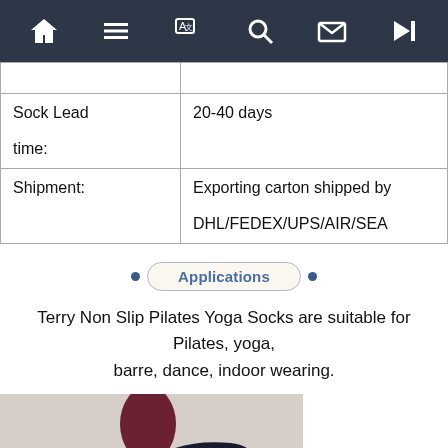[Figure (screenshot): Navigation bar with icons: home, menu, translate, search, mail, next]
|  |  |
| Sock Lead time: | 20-40 days |
| Shipment: | Exporting carton shipped by DHL/FEDEX/UPS/AIR/SEA |
Applications
Terry Non Slip Pilates Yoga Socks are suitable for Pilates, yoga, barre, dance, indoor wearing.
[Figure (photo): Person doing barre exercise in dark clothing, holding a barre rail]